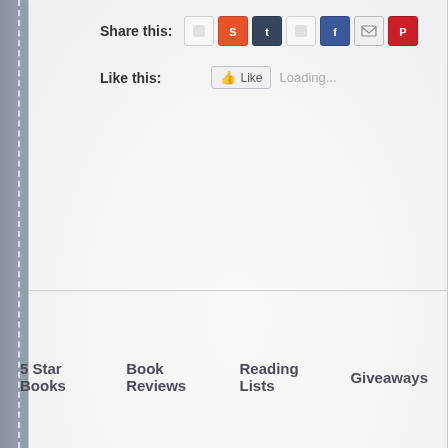Share this:
Like this:   Like   Loading...
5 Star Books   Book Reviews   Reading Lists   Giveaways